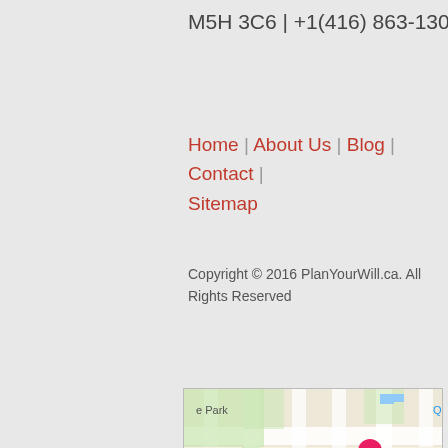M5H 3C6 | +1(416) 863-1300
Home | About Us | Blog | Contact | Sitemap
Copyright © 2016 PlanYourWill.ca. All Rights Reserved
[Figure (map): Google Maps screenshot showing downtown Toronto area around Scotiabank Theatre Toronto, Sheraton Centre Toronto, Osgoode subway station, St Andrew subway station, Adelaide St W, and Hockey Hall of Fame area (OLD T). Pink hotel pins, teal Scotiabank Theatre pin, orange restaurant pin visible.]